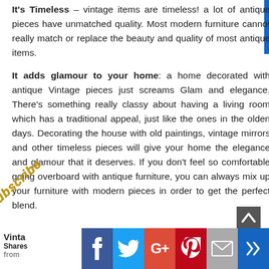It's Timeless – vintage items are timeless! a lot of antique pieces have unmatched quality. Most modern furniture cannot really match or replace the beauty and quality of most antique items.
It adds glamour to your home: a home decorated with antique Vintage pieces just screams Glam and elegance. There's something really classy about having a living room which has a traditional appeal, just like the ones in the olden days. Decorating the house with old paintings, vintage mirrors and other timeless pieces will give your home the elegance and glamour that it deserves. If you don't feel so comfortable going overboard with antique furniture, you can always mix up your furniture with modern pieces in order to get the perfect blend.
Vinta Shares from